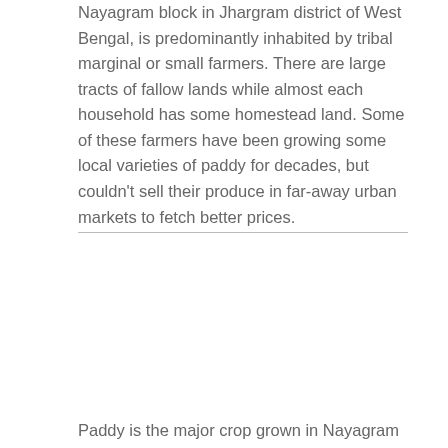Nayagram block in Jhargram district of West Bengal, is predominantly inhabited by tribal marginal or small farmers. There are large tracts of fallow lands while almost each household has some homestead land. Some of these farmers have been growing some local varieties of paddy for decades, but couldn't sell their produce in far-away urban markets to fetch better prices.
[Figure (photo): Image area between two text blocks, appears blank or contains a photo not clearly visible]
Paddy is the major crop grown in Nayagram villages,